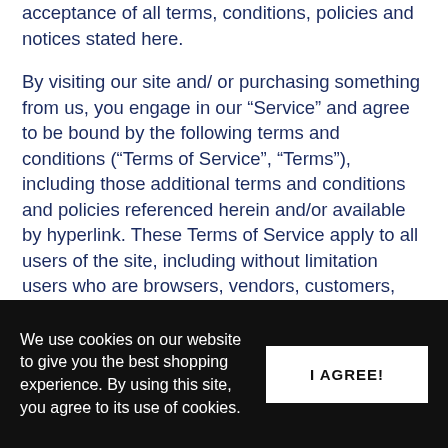acceptance of all terms, conditions, policies and notices stated here.
By visiting our site and/ or purchasing something from us, you engage in our “Service” and agree to be bound by the following terms and conditions (“Terms of Service”, “Terms”), including those additional terms and conditions and policies referenced herein and/or available by hyperlink. These Terms of Service apply to all users of the site, including without limitation users who are browsers, vendors, customers, merchants, and/ or contributors of content.
We use cookies on our website to give you the best shopping experience. By using this site, you agree to its use of cookies.